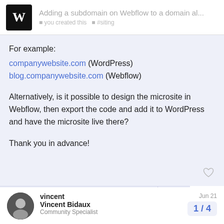Adding a subdomain on Webflow to a domain al...
For example:
companywebsite.com (WordPress)
blog.companywebsite.com (Webflow)

Alternatively, is it possible to design the microsite in Webflow, then export the code and add it to WordPress and have the microsite live there?

Thank you in advance!
created Jun 20   last reply Jun 22   3 replies
vincent
Vincent Bidaux
Community Specialist
Jun 21
1 / 4